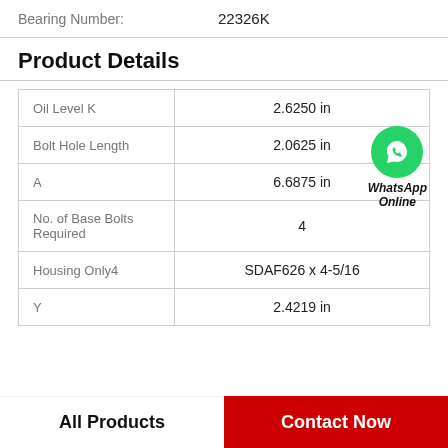Bearing Number: 22326K
Product Details
| Property | Value |
| --- | --- |
| Oil Level K | 2.6250 in |
| Bolt Hole Length | 2.0625 in |
| A | 6.6875 in |
| No. of Base Bolts Required | 4 |
| Housing Only4 | SDAF626 x 4-5/16 |
| Y | 2.4219 in |
[Figure (logo): WhatsApp Online green circle icon with phone handset, labeled WhatsApp Online in bold italic]
All Products    Contact Now